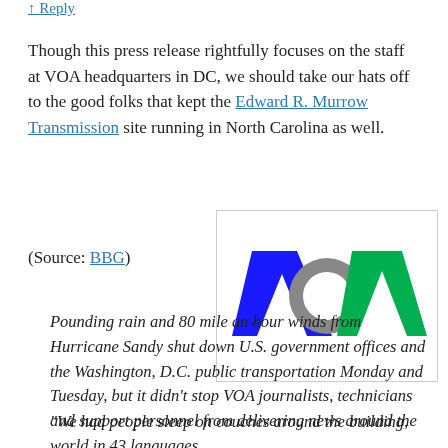↑ Reply
Though this press release rightfully focuses on the staff at VOA headquarters in DC, we should take our hats off to the good folks that kept the Edward R. Murrow Transmission site running in North Carolina as well.
(Source: BBG)
[Figure (logo): VOA (Voice of America) logo with blue V, gray circle O, and green A letters]
Pounding rain and 80 mile an hour winds from Hurricane Sandy shut down U.S. government offices and the Washington, D.C. public transportation Monday and Tuesday, but it didn't stop VOA journalists, technicians and support personnel from delivering news around the world in 43 languages.
“We had people sleep on couches around the building,